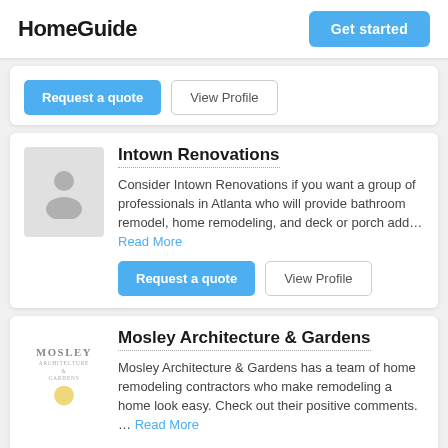HomeGuide | Get started
[Figure (other): Request a quote and View Profile buttons for a contractor listing (partially visible card)]
Intown Renovations
Consider Intown Renovations if you want a group of professionals in Atlanta who will provide bathroom remodel, home remodeling, and deck or porch add... Read More
[Figure (other): Request a quote and View Profile buttons for Intown Renovations]
Mosley Architecture & Gardens
Mosley Architecture & Gardens has a team of home remodeling contractors who make remodeling a home look easy. Check out their positive comments. ... Read More